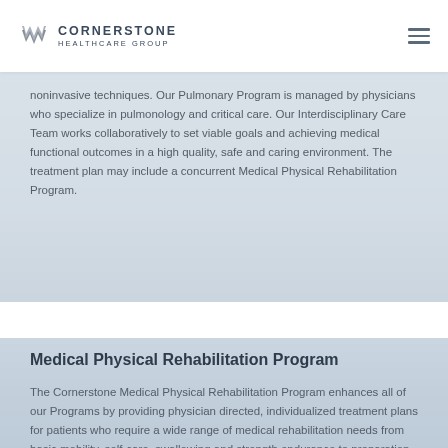CORNERSTONE HEALTHCARE GROUP
noninvasive techniques. Our Pulmonary Program is managed by physicians who specialize in pulmonology and critical care. Our Interdisciplinary Care Team works collaboratively to set viable goals and achieving medical functional outcomes in a high quality, safe and caring environment. The treatment plan may include a concurrent Medical Physical Rehabilitation Program.
Medical Physical Rehabilitation Program
The Cornerstone Medical Physical Rehabilitation Program enhances all of our Programs by providing physician directed, individualized treatment plans for patients who require a wide range of medical rehabilitation needs from basic mobility, self-care, swallowing and strength endurance to preparation for their return to an independent living situation. Our goal is to assist the patient in their ability to obtain